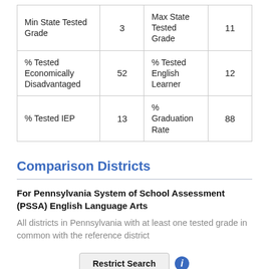| Min State Tested Grade | 3 | Max State Tested Grade | 11 |
| % Tested Economically Disadvantaged | 52 | % Tested English Learner | 12 |
| % Tested IEP | 13 | % Graduation Rate | 88 |
Comparison Districts
For Pennsylvania System of School Assessment (PSSA) English Language Arts
All districts in Pennsylvania with at least one tested grade in common with the reference district
Restrict Search
There are at most 637 districts...